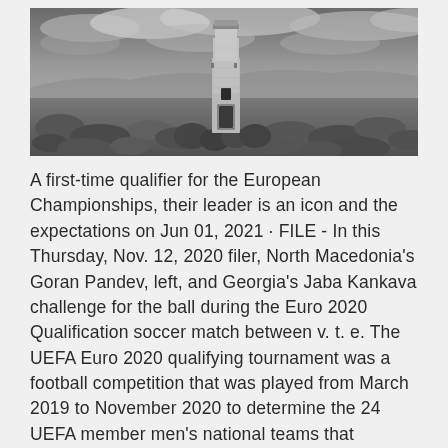[Figure (photo): Black and white photograph of a small stone lighthouse or tower structure with a dark wooden door, surrounded by large rocks and boulders in a barren landscape under a dramatic cloudy sky]
A first-time qualifier for the European Championships, their leader is an icon and the expectations on Jun 01, 2021 · FILE - In this Thursday, Nov. 12, 2020 filer, North Macedonia's Goran Pandev, left, and Georgia's Jaba Kankava challenge for the ball during the Euro 2020 Qualification soccer match between v. t. e. The UEFA Euro 2020 qualifying tournament was a football competition that was played from March 2019 to November 2020 to determine the 24 UEFA member men's national teams that advanced to the UEFA Euro 2020 final tournament, to be staged across Europe in